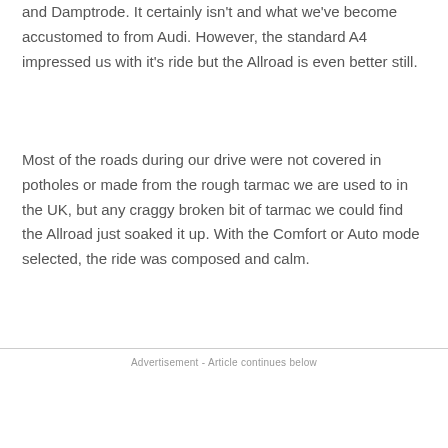and Damptrode. It certainly isn't and what we've become accustomed to from Audi. However, the standard A4 impressed us with it's ride but the Allroad is even better still.
Most of the roads during our drive were not covered in potholes or made from the rough tarmac we are used to in the UK, but any craggy broken bit of tarmac we could find the Allroad just soaked it up. With the Comfort or Auto mode selected, the ride was composed and calm.
Advertisement - Article continues below